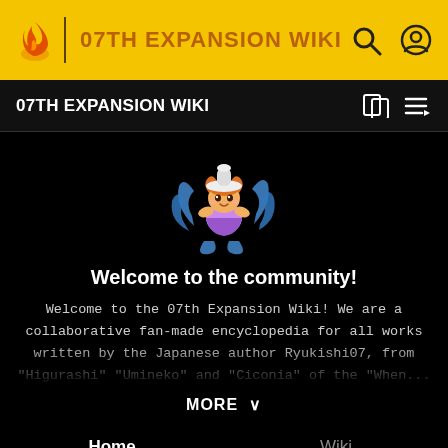07TH EXPANSION WIKI
07TH EXPANSION WIKI
[Figure (illustration): Pixel art character of a girl with orange hair wearing a white hat and purple dress, surrounded by blue tentacles]
Welcome to the community!
Welcome to the 07th Expansion Wiki! We are a collaborative fan-made encyclopedia for all works written by the Japanese author Ryukishi07, from "Higurashi" "Umineko" and "Ciconia" of the "When...
MORE ∨
Home	Wiki
Categories ▼